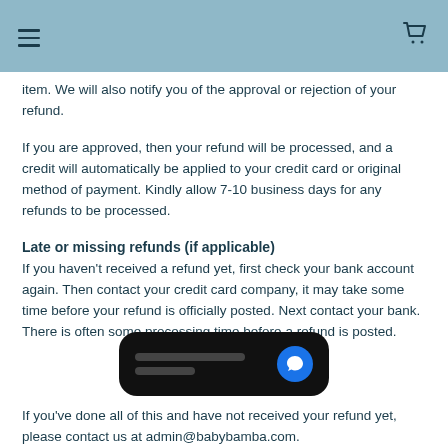≡  [cart icon]
item. We will also notify you of the approval or rejection of your refund.
If you are approved, then your refund will be processed, and a credit will automatically be applied to your credit card or original method of payment. Kindly allow 7-10 business days for any refunds to be processed.
Late or missing refunds (if applicable)
If you haven't received a refund yet, first check your bank account again. Then contact your credit card company, it may take some time before your refund is officially posted. Next contact your bank. There is often some processing time before a refund is posted.
[Figure (other): Chat popup widget with two lines of placeholder text and a blue chat bubble icon on a black rounded rectangle background.]
If you've done all of this and have not received your refund yet, please contact us at admin@babybamba.com.